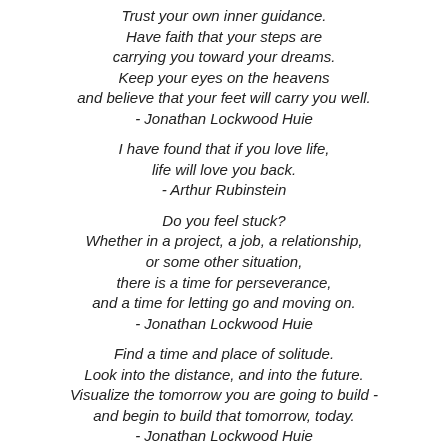Trust your own inner guidance.
Have faith that your steps are
carrying you toward your dreams.
Keep your eyes on the heavens
and believe that your feet will carry you well.
- Jonathan Lockwood Huie
I have found that if you love life,
life will love you back.
- Arthur Rubinstein
Do you feel stuck?
Whether in a project, a job, a relationship,
or some other situation,
there is a time for perseverance,
and a time for letting go and moving on.
- Jonathan Lockwood Huie
Find a time and place of solitude.
Look into the distance, and into the future.
Visualize the tomorrow you are going to build -
and begin to build that tomorrow, today.
- Jonathan Lockwood Huie
Do not blame the thistle that you see no beauty.